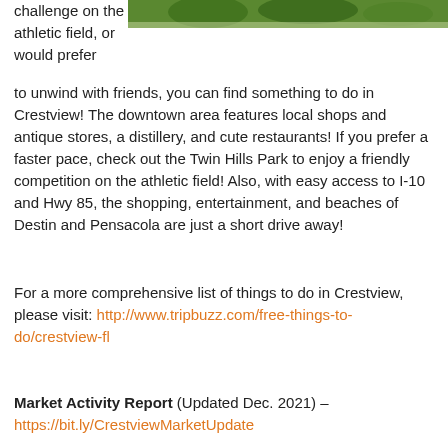[Figure (photo): Green athletic field/grass area with figures, partial image at top of page]
challenge on the athletic field, or would prefer to unwind with friends, you can find something to do in Crestview!  The downtown area features local shops and antique stores, a distillery, and cute restaurants! If you prefer a faster pace, check out the Twin Hills Park to enjoy a friendly competition on the athletic field!  Also, with easy access to I-10 and Hwy 85, the shopping, entertainment, and beaches of Destin and Pensacola are just a short drive away!
For a more comprehensive list of things to do in Crestview, please visit: http://www.tripbuzz.com/free-things-to-do/crestview-fl
Market Activity Report (Updated Dec. 2021) – https://bit.ly/CrestviewMarketUpdate